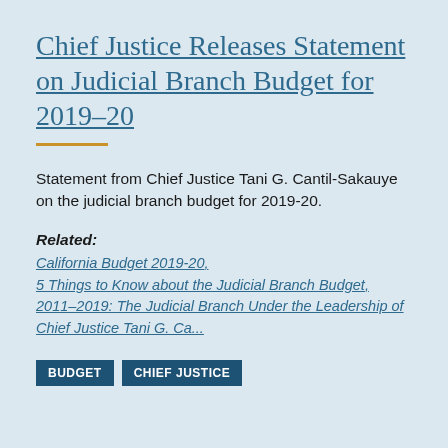Chief Justice Releases Statement on Judicial Branch Budget for 2019–20
Statement from Chief Justice Tani G. Cantil-Sakauye on the judicial branch budget for 2019-20.
Related:
California Budget 2019-20,
5 Things to Know about the Judicial Branch Budget,
2011–2019: The Judicial Branch Under the Leadership of Chief Justice Tani G. Ca...
BUDGET   CHIEF JUSTICE